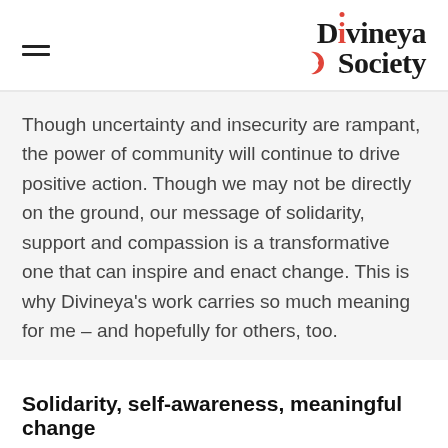Divineya Society
Though uncertainty and insecurity are rampant, the power of community will continue to drive positive action. Though we may not be directly on the ground, our message of solidarity, support and compassion is a transformative one that can inspire and enact change. This is why Divineya's work carries so much meaning for me – and hopefully for others, too.
Solidarity, self-awareness, meaningful change
Divineya Society stands in solidarity with the Afghani